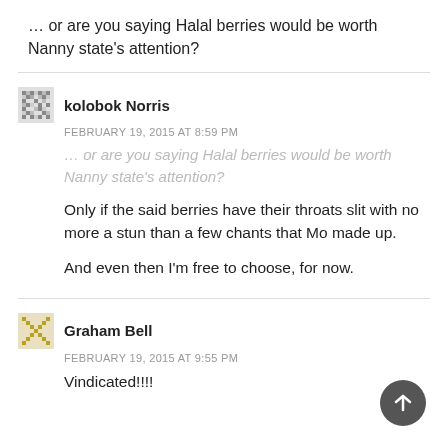… or are you saying Halal berries would be worth Nanny state's attention?
kolobok Norris
FEBRUARY 19, 2015 AT 8:59 PM
… or are you saying Halal berries would be worth Nanny state's attention?
Only if the said berries have their throats slit with no more a stun than a few chants that Mo made up.
And even then I'm free to choose, for now.
Graham Bell
FEBRUARY 19, 2015 AT 9:55 PM
Vindicated!!!!